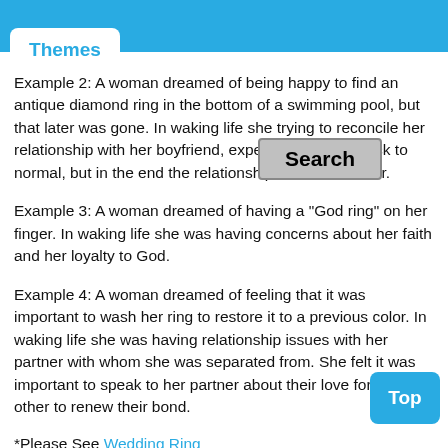Themes
Example 2: A woman dreamed of being happy to find an antique diamond ring in the bottom of a swimming pool, but that later was gone. In waking life she trying to reconcile her relationship with her boyfriend, expecting all to go back to normal, but in the end the relationship couldn't recover.
Example 3: A woman dreamed of having a "God ring" on her finger. In waking life she was having concerns about her faith and her loyalty to God.
Example 4: A woman dreamed of feeling that it was important to wash her ring to restore it to a previous color. In waking life she was having relationship issues with her partner with whom she was separated from. She felt it was important to speak to her partner about their love for each other to renew their bond.
*Please See Wedding Ring